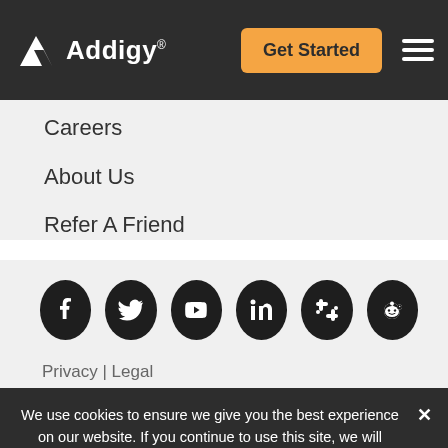Addigy — Get Started (navigation header)
Careers
About Us
Refer A Friend
[Figure (infographic): Row of 6 social media icons (circular dark buttons): Facebook, Twitter, YouTube, LinkedIn, Slack, Reddit]
Privacy | Legal
We use cookies to ensure we give you the best experience on our website. If you continue to use this site, we will assume that you are happy with it.
Ok   No   Privacy policy